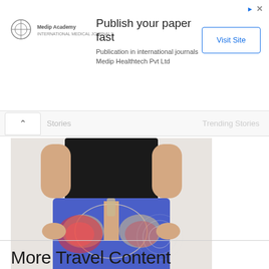[Figure (screenshot): Advertisement banner for Medip Academy - Publish your paper fast, Publication in international journals, Medip Healthtech Pvt Ltd, with Visit Site button]
Stories   Trending Stories
[Figure (photo): Medical illustration of hip/pelvis area showing psoriatic arthritis pain with red inflammation markers on a person wearing blue pants]
Symptoms of Psoriatic Arthritis You May Wish You Knew Sooner
Psoriatic Arthritis | Spon...
More Travel Content